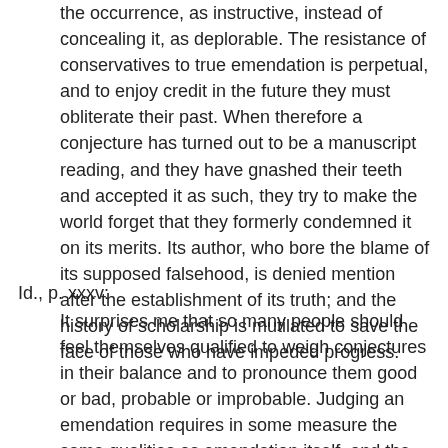the occurrence, as instructive, instead of concealing it, as deplorable. The resistance of conservatives to true emendation is perpetual, and to enjoy credit in the future they must obliterate their past. When therefore a conjecture has turned out to be a manuscript reading, and they have gnashed their teeth and accepted it as such, they try to make the world forget that they formerly condemned it on its merits. Its author, who bore the blame of its supposed falsehood, is denied mention after the establishment of its truth; and the history of scholarship is mutilated to save the face of those who have impeded progress.
Id., p. xxxv:
It surprises me that so many people should feel themselves qualified to weigh conjectures in their balance and to pronounce them good or bad, probable or improbable. Judging an emendation requires in some measure the same qualities as emendation itself, and the requirement is